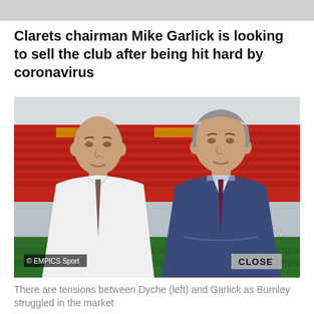Clarets chairman Mike Garlick is looking to sell the club after being hit hard by coronavirus
[Figure (photo): Two men standing on a football pitch in a stadium with red seats. The man on the left is bald wearing a white shirt and tie. The man on the right is wearing a blue suit. Photo credit: © EMPICS Sport. A 'CLOSE' button is overlaid at bottom right.]
There are tensions between Dyche (left) and Garlick as Burnley struggled in the market